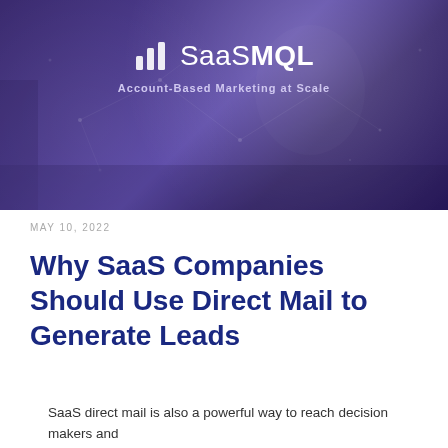[Figure (photo): A purple/violet cardboard box with the SaasMQL logo and tagline 'Account-Based Marketing at Scale' printed on top, sitting on a dark surface. The box has a glossy sheen with network dots pattern.]
MAY 10, 2022
Why SaaS Companies Should Use Direct Mail to Generate Leads
SaaS direct mail is also a powerful way to reach decision makers and